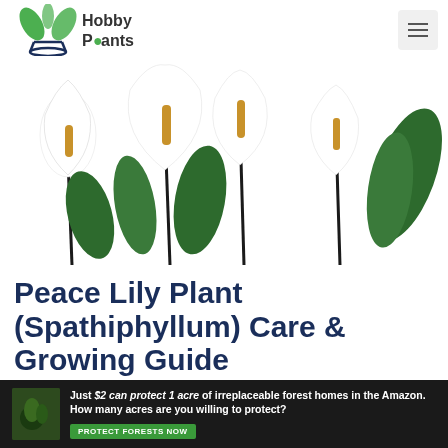Hobby Plants
[Figure (photo): Multiple peace lily (Spathiphyllum) plants with white spathes and green leaves against a white background]
Peace Lily Plant (Spathiphyllum) Care & Growing Guide
[Figure (infographic): Advertisement banner: Just $2 can protect 1 acre of irreplaceable forest homes in the Amazon. How many acres are you willing to protect? PROTECT FORESTS NOW]